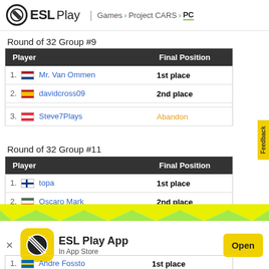ESL Play | Games > Project CARS > PC
Round of 32 Group #9
| Player | Final Position |
| --- | --- |
| 1. [NL] Mr. Van Ommen | 1st place |
| 2. [ES] davidcross09 | 2nd place |
| 3. [AT] Steve7Plays | Abandon |
Round of 32 Group #11
| Player | Final Position |
| --- | --- |
| 1. [FI] topa | 1st place |
| 2. [HU] Oscaro Mark | 2nd place |
[Figure (screenshot): ESL Play App promotional banner with zigzag yellow/green divider, app icon, name 'ESL Play App', 'In App Store' text, and 'Open' button]
| Player | Final Position |
| --- | --- |
| 1. [SE] Andre Fossto | 1st place |